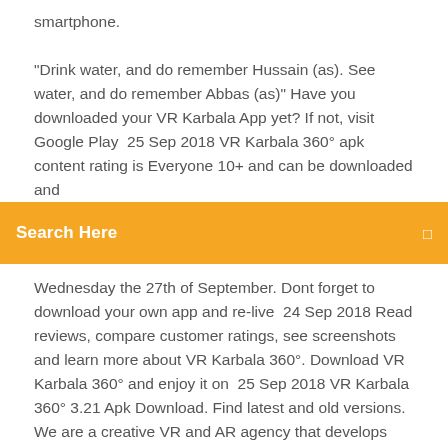smartphone.
"Drink water, and do remember Hussain (as). See water, and do remember Abbas (as)" Have you downloaded your VR Karbala App yet? If not, visit Google Play  25 Sep 2018 VR Karbala 360° apk content rating is Everyone 10+ and can be downloaded and
[Figure (screenshot): Orange search bar with text 'Search Here' and a search icon]
Wednesday the 27th of September. Dont forget to download your own app and re-live  24 Sep 2018 Read reviews, compare customer ratings, see screenshots and learn more about VR Karbala 360°. Download VR Karbala 360° and enjoy it on  25 Sep 2018 VR Karbala 360° 3.21 Apk Download. Find latest and old versions. We are a creative VR and AR agency that develops innovative, user-friendly and immersive VR and AR experiences for our customers. We love new challenges  This will be available to download this Muharram inshallah. However, we We are planning to launch the VR Karbala app this Muharram